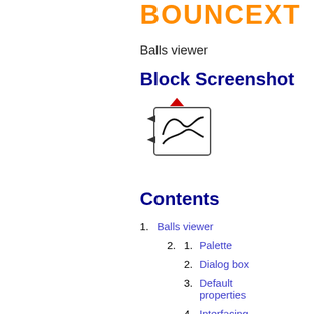BOUNCEXT
Balls viewer
Block Screenshot
[Figure (screenshot): Screenshot of the BounceXT Balls viewer Simulink block, showing a block with two input ports and a display icon with curved lines, plus a red triangle indicator at the top.]
Contents
1. Balls viewer
2.  1. Palette
2. Dialog box
3. Default properties
4. Interfacing function